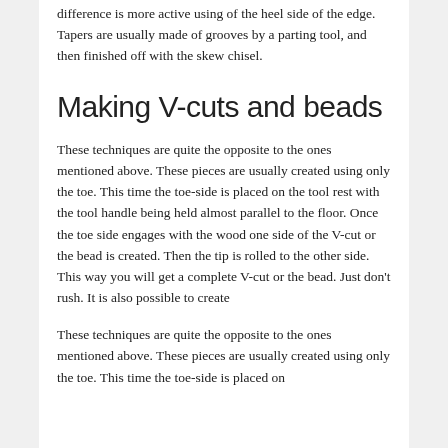difference is more active using of the heel side of the edge. Tapers are usually made of grooves by a parting tool, and then finished off with the skew chisel.
Making V-cuts and beads
These techniques are quite the opposite to the ones mentioned above. These pieces are usually created using only the toe. This time the toe-side is placed on the tool rest with the tool handle being held almost parallel to the floor. Once the toe side engages with the wood one side of the V-cut or the bead is created. Then the tip is rolled to the other side. This way you will get a complete V-cut or the bead. Just don't rush. It is also possible to create
These techniques are quite the opposite to the ones mentioned above. These pieces are usually created using only the toe. This time the toe-side is placed on